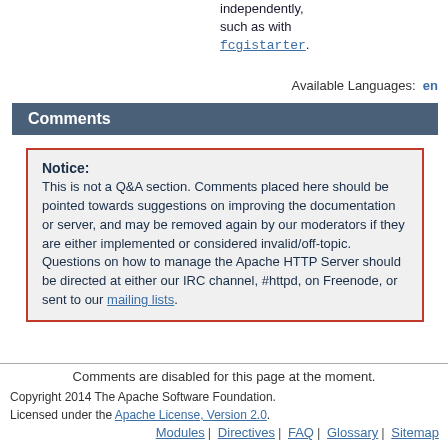independently, such as with fcgistarter.
Available Languages: en
Comments
Notice:
This is not a Q&A section. Comments placed here should be pointed towards suggestions on improving the documentation or server, and may be removed again by our moderators if they are either implemented or considered invalid/off-topic. Questions on how to manage the Apache HTTP Server should be directed at either our IRC channel, #httpd, on Freenode, or sent to our mailing lists.
Comments are disabled for this page at the moment.
Copyright 2014 The Apache Software Foundation.
Licensed under the Apache License, Version 2.0.
Modules | Directives | FAQ | Glossary | Sitemap